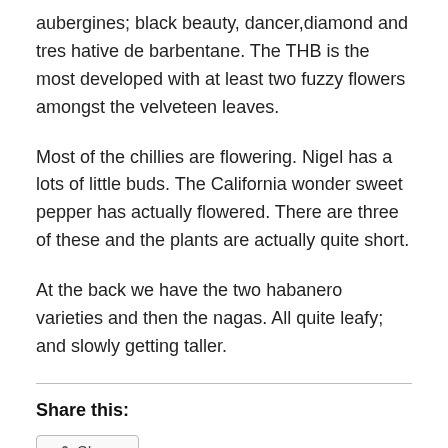aubergines; black beauty, dancer,diamond and tres hative de barbentane. The THB is the most developed with at least two fuzzy flowers amongst the velveteen leaves.
Most of the chillies are flowering. Nigel has a lots of little buds. The California wonder sweet pepper has actually flowered. There are three of these and the plants are actually quite short.
At the back we have the two habanero varieties and then the nagas. All quite leafy; and slowly getting taller.
Share this:
[Figure (other): Share button with share icon]
Loading...